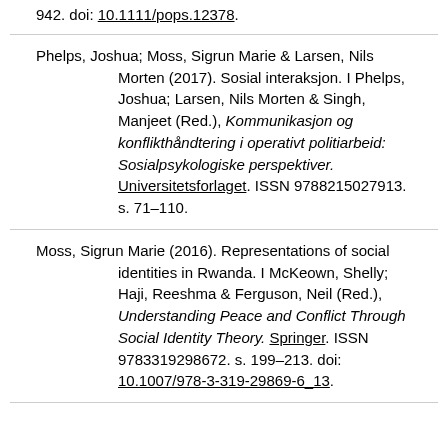942. doi: 10.1111/pops.12378.
Phelps, Joshua; Moss, Sigrun Marie & Larsen, Nils Morten (2017). Sosial interaksjon. I Phelps, Joshua; Larsen, Nils Morten & Singh, Manjeet (Red.), Kommunikasjon og konflikthåndtering i operativt politiarbeid: Sosialpsykologiske perspektiver. Universitetsforlaget. ISSN 9788215027913. s. 71–110.
Moss, Sigrun Marie (2016). Representations of social identities in Rwanda. I McKeown, Shelly; Haji, Reeshma & Ferguson, Neil (Red.), Understanding Peace and Conflict Through Social Identity Theory. Springer. ISSN 9783319298672. s. 199–213. doi: 10.1007/978-3-319-29869-6_13.